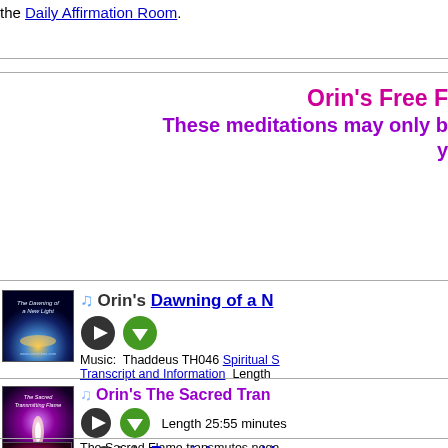the Daily Affirmation Room.
Orin's Free F... These meditations may only b... y...
[Figure (illustration): Album cover for Dawning of a New Light - purple/blue space scene]
Orin's Dawning of a N...
Music: Thaddeus TH046 Spiritual S... Transcript and Information Length...
[Figure (illustration): Album cover for The Sacred Tran... - purple flame on dark background]
Orin's The Sacred Tran...
Length 25:55 minutes The Sacred Flame transmutes nega... own energy and send that light to humanity. Music: Thaddeus TH070 Sanctuary of Peace Transcript and Information
[Figure (illustration): Album cover for Receiving and L... - pink/magenta heart on dark background]
Orin's Receiving and L...